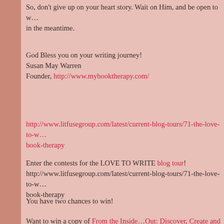So, don't give up on your heart story. Wait on Him, and be open to w… in the meantime.
God Bless you on your writing journey!
Susan May Warren
Founder, http://www.mybooktherapy.com/
http://www.litfusegroup.com/latest/current-blog-tours/71-the-love-to-w… book-therapy
Enter the contests for the LOVE TO WRITE blog tour!
http://www.litfusegroup.com/latest/current-blog-tours/71-the-love-to-w…
book-therapy
You have two chances to win!
Want to win a copy of From the Inside…Out: Discover, Create and P…